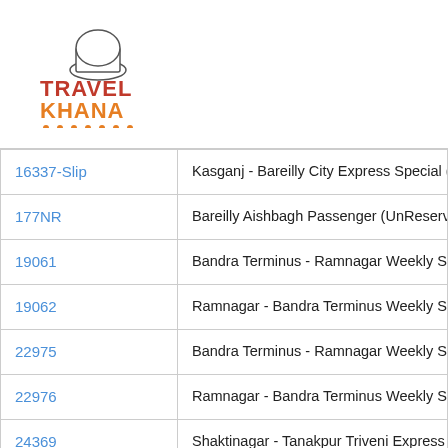[Figure (logo): TravelKhana logo with chef hat icon, red and orange text]
| Train Number | Train Name |
| --- | --- |
| 16337-Slip | Kasganj - Bareilly City Express Special (UnRe… |
| 177NR | Bareilly Aishbagh Passenger (UnReserved) |
| 19061 | Bandra Terminus - Ramnagar Weekly SF Expr… |
| 19062 | Ramnagar - Bandra Terminus Weekly SF Expr… |
| 22975 | Bandra Terminus - Ramnagar Weekly SF Expr… |
| 22976 | Ramnagar - Bandra Terminus Weekly SF Expr… |
| 24369 | Shaktinagar - Tanakpur Triveni Express |
| 24370 | Tanakpur - Shaktinagar Triveni Express |
| 24370-Slip | Tanakpur - Barwadih Triveni Link Express |
| 3008A-Slip | Bareilly City - Kasganj Express Special… |